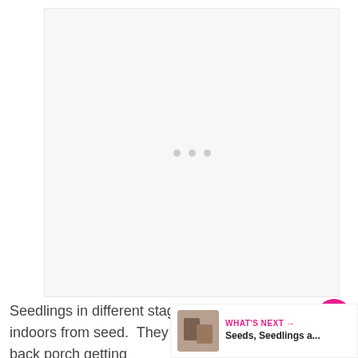[Figure (photo): Loading image placeholder with three grey dots centered on a light grey background rectangle]
Seedlings in different stages of grow... started indoors from seed. They are ... on my covered back porch getting
[Figure (other): WHAT'S NEXT → Seeds, Seedlings a... promotional banner with thumbnail image]